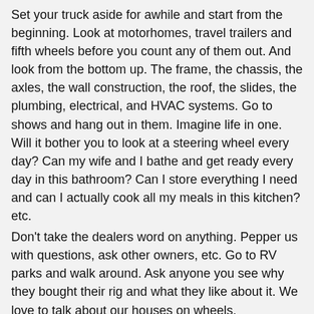Set your truck aside for awhile and start from the beginning. Look at motorhomes, travel trailers and fifth wheels before you count any of them out. And look from the bottom up. The frame, the chassis, the axles, the wall construction, the roof, the slides, the plumbing, electrical, and HVAC systems. Go to shows and hang out in them. Imagine life in one. Will it bother you to look at a steering wheel every day? Can my wife and I bathe and get ready every day in this bathroom? Can I store everything I need and can I actually cook all my meals in this kitchen? etc.
Don't take the dealers word on anything. Pepper us with questions, ask other owners, etc. Go to RV parks and walk around. Ask anyone you see why they bought their rig and what they like about it. We love to talk about our houses on wheels.
One more thing. Don't exceed any of the manufacturers weight ratings. They are on there for a reason, safe operation of the vehicle. Phil
[Figure (screenshot): Advertisement banner with teal background containing a red rounded rectangle with white text reading 'Plan better' and partial text below, with a close button X in the upper right.]